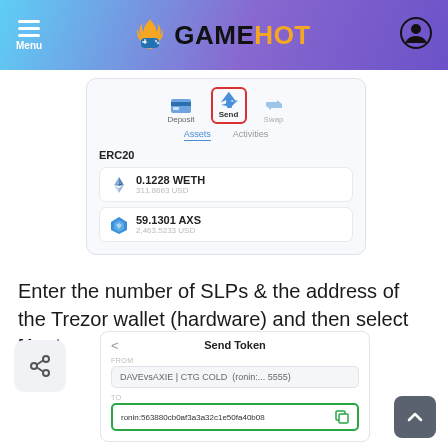Menu | GAMEHOT
[Figure (screenshot): Wallet app screenshot showing Deposit, Send (highlighted with red border), Swap tabs. Assets tab shows ERC20 tokens: 0.1228 WETH (311.8663 USD) and 59.1301 AXS (2,463.5233 USD)]
Enter the number of SLPs & the address of the Trezor wallet (hardware) and then select Next.
[Figure (screenshot): Send Token screen showing FROM field with DAVEvsAXIE | CTG COLD (ronin:... 5555) and TO field with ronin:563880cb0af3a3a32c1e50fa40b08 in green highlighted input box]